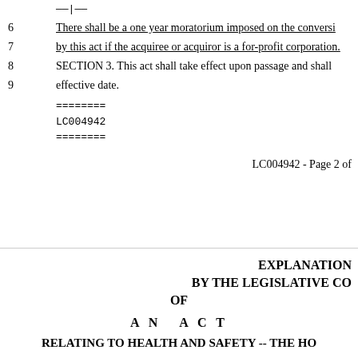——|——
6    There shall be a one year moratorium imposed on the conversi
7    by this act if the acquiree or acquiror is a for-profit corporation.
8    SECTION 3. This act shall take effect upon passage and shall
9    effective date.
========
LC004942
========
LC004942 - Page 2 of
EXPLANATION
BY THE LEGISLATIVE CO
OF
A N  A C T
RELATING TO HEALTH AND SAFETY -- THE HO